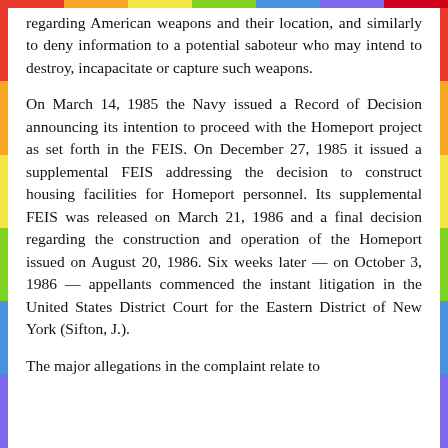regarding American weapons and their location, and similarly to deny information to a potential saboteur who may intend to destroy, incapacitate or capture such weapons.
On March 14, 1985 the Navy issued a Record of Decision announcing its intention to proceed with the Homeport project as set forth in the FEIS. On December 27, 1985 it issued a supplemental FEIS addressing the decision to construct housing facilities for Homeport personnel. Its supplemental FEIS was released on March 21, 1986 and a final decision regarding the construction and operation of the Homeport issued on August 20, 1986. Six weeks later — on October 3, 1986 — appellants commenced the instant litigation in the United States District Court for the Eastern District of New York (Sifton, J.).
The major allegations in the complaint relate to